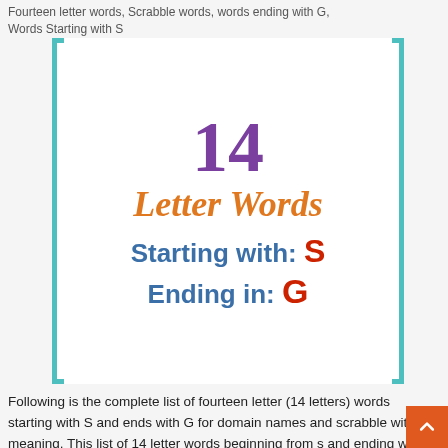Fourteen letter words, Scrabble words, words ending with G, Words Starting with S
[Figure (infographic): Infographic with teal bracket borders on a white background showing: large purple '14', orange italic 'Letter Words', blue bold 'Starting with: S' (S in red), blue bold 'Ending in: G' (G in red)]
Following is the complete list of fourteen letter (14 letters) words starting with S and ends with G for domain names and scrabble with meaning. This list of 14 letter words beginning from s and ending with g alphabet is valid for both American